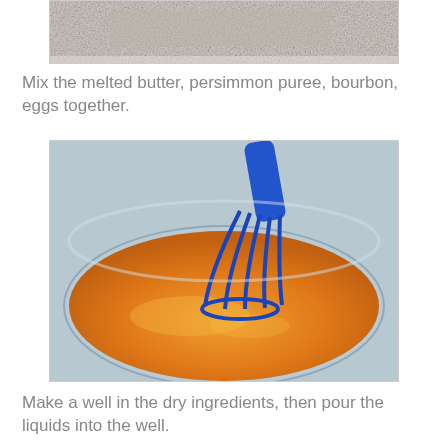[Figure (photo): Close-up photo of flour or dry ingredients in a bowl]
Mix the melted butter, persimmon puree, bourbon, eggs together.
[Figure (photo): Orange/yellow mixture being whisked with a blue silicone whisk in a glass bowl]
Make a well in the dry ingredients, then pour the liquids into the well.
[Figure (photo): Orange liquid being poured into a well in dry ingredients in a glass bowl]